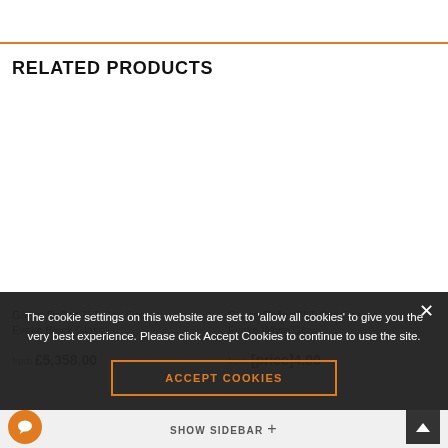RELATED PRODUCTS
Gazco Reflex 75T Gas Fire – Evoke Black Glass
from £5,358.00
Gazco Reflex 75T Gas Fire – Evoke White Glass
from £[price]4.00
The cookie settings on this website are set to 'allow all cookies' to give you the very best experience. Please click Accept Cookies to continue to use the site.
ACCEPT COOKIES
SHOW SIDEBAR +